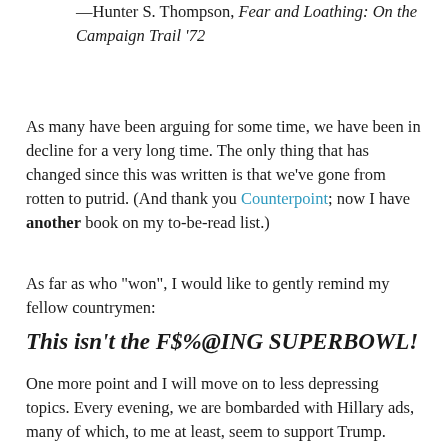—Hunter S. Thompson, Fear and Loathing: On the Campaign Trail '72
As many have been arguing for some time, we have been in decline for a very long time. The only thing that has changed since this was written is that we've gone from rotten to putrid. (And thank you Counterpoint; now I have another book on my to-be-read list.)
As far as who "won", I would like to gently remind my fellow countrymen:
This isn't the F$%@ING SUPERBOWL!
One more point and I will move on to less depressing topics. Every evening, we are bombarded with Hillary ads, many of which, to me at least, seem to support Trump. Trump is running a disestablishmentarianist campaign. He doesn't want the endorsement of the Republican establishment. Every antidisosestablishmentarianist ad that Hillary runs, check